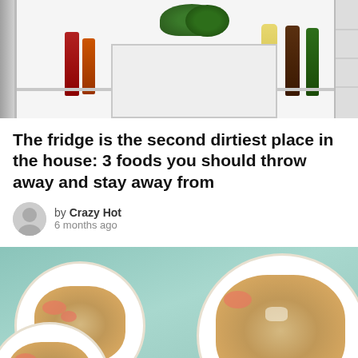[Figure (photo): Open refrigerator with vegetables, fruits, condiment bottles on shelves]
The fridge is the second dirtiest place in the house: 3 foods you should throw away and stay away from
by Crazy Hot
6 months ago
[Figure (photo): Three bowls and a plate of seafood fried rice on a teal background]